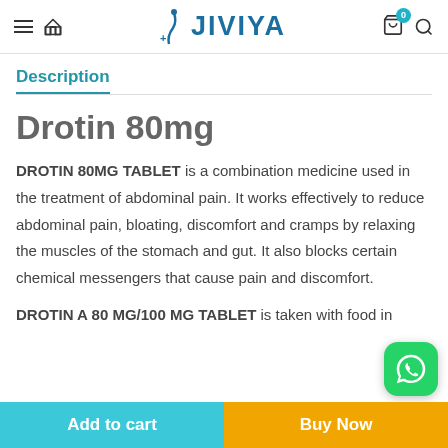JIVIYA — navigation header with logo, hamburger menu, home icon, cart (0), and search
Description
Drotin 80mg
DROTIN 80MG TABLET is a combination medicine used in the treatment of abdominal pain. It works effectively to reduce abdominal pain, bloating, discomfort and cramps by relaxing the muscles of the stomach and gut. It also blocks certain chemical messengers that cause pain and discomfort.
DROTIN A 80 MG/100 MG TABLET is taken with food in